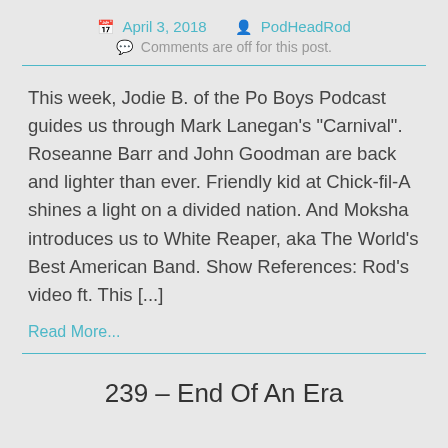April 3, 2018   PodHeadRod   Comments are off for this post.
This week, Jodie B. of the Po Boys Podcast guides us through Mark Lanegan's “Carnival”. Roseanne Barr and John Goodman are back and lighter than ever. Friendly kid at Chick-fil-A shines a light on a divided nation. And Moksha introduces us to White Reaper, aka The World’s Best American Band. Show References: Rod’s video ft. This [...]
Read More...
239 – End Of An Era